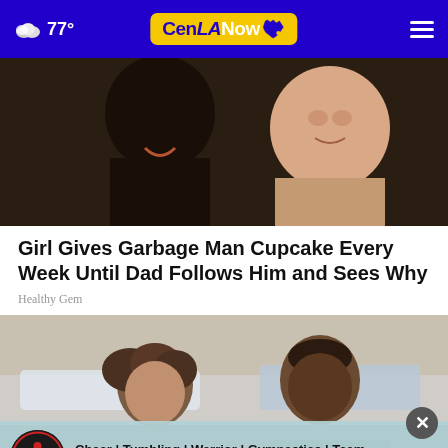77° CenLANow
[Figure (photo): A man and a young child smiling together]
Girl Gives Garbage Man Cupcake Every Week Until Dad Follows Him and Sees Why
Healthy Gem
[Figure (photo): Two women standing outdoors near cars]
Cheer | Tumbling | Warrior | Gymnastics | Team (318) 597-5202 | Mansura, LA